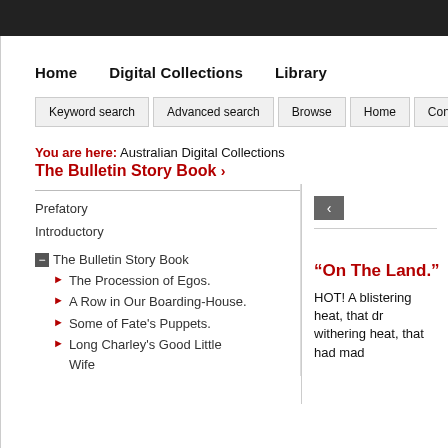Home   Digital Collections   Library
Keyword search   Advanced search   Browse   Home   Contact
You are here: Australian Digital Collections The Bulletin Story Book ›
Prefatory
Introductory
The Bulletin Story Book
The Procession of Egos.
A Row in Our Boarding-House.
Some of Fate's Puppets.
Long Charley's Good Little Wife
“On The Land.”
HOT! A blistering heat, that dr withering heat, that had mad